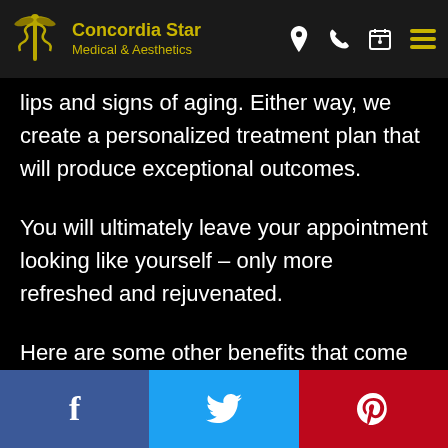Concordia Star Medical & Aesthetics — navigation bar with logo and icons
lips and signs of aging. Either way, we create a personalized treatment plan that will produce exceptional outcomes.
You will ultimately leave your appointment looking like yourself – only more refreshed and rejuvenated.
Here are some other benefits that come with lip fillers:
Social share buttons: Facebook, Twitter, Pinterest